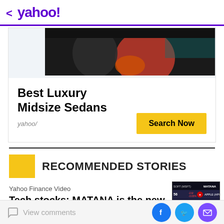< yahoo!
[Figure (screenshot): Yahoo Finance webpage screenshot showing an advertisement for Best Luxury Midsize Sedans with a photo of people and a Search Now button, followed by a Recommended Stories section with a Yahoo Finance Video story about Tech stocks: MATANA is the new]
Best Luxury Midsize Sedans
yahoo/
RECOMMENDED STORIES
Yahoo Finance Video
Tech stocks: MATANA is the new
View comments